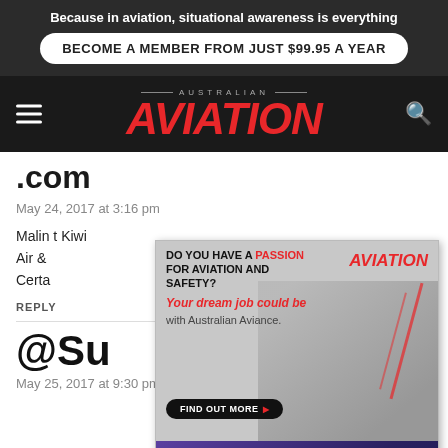Because in aviation, situational awareness is everything
BECOME A MEMBER FROM JUST $99.95 A YEAR
[Figure (logo): Australian Aviation logo with red italic AVIATION text and 'AUSTRALIAN' subtitle]
.com
May 24, 2017 at 3:16 pm
Malin... t Kiwi Air & rth. Certa... ek.
REPLY
[Figure (infographic): Overlay advertisement with two sections: top section shows Aviation recruitment ad with text 'DO YOU HAVE A PASSION FOR AVIATION AND SAFETY? Your dream job could be with Australian Aviance.' and a button, with people in background; bottom section shows QinetiQ purple ad with text 'Enabling critical UAS technologies']
@Su
May 25, 2017 at 9:30 pm